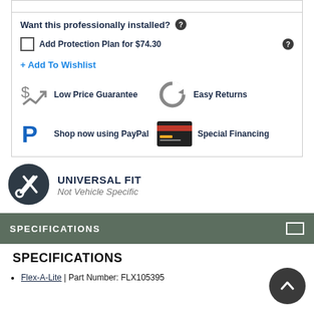Want this professionally installed?
Add Protection Plan for $74.30
+ Add To Wishlist
[Figure (infographic): Low Price Guarantee icon with dollar sign and checkmark]
Low Price Guarantee
[Figure (infographic): Easy Returns circular arrow icon]
Easy Returns
[Figure (logo): PayPal logo P icon]
Shop now using PayPal
[Figure (infographic): Special Financing credit card image]
Special Financing
[Figure (infographic): Universal Fit badge with wrench/screwdriver icon in dark circle]
UNIVERSAL FIT Not Vehicle Specific
SPECIFICATIONS
SPECIFICATIONS
Flex-A-Lite | Part Number: FLX105395